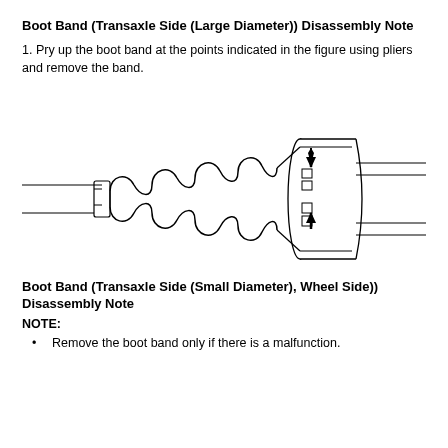Boot Band (Transaxle Side (Large Diameter)) Disassembly Note
1. Pry up the boot band at the points indicated in the figure using pliers and remove the band.
[Figure (engineering-diagram): Technical line drawing of a CV boot and boot band assembly showing the accordion-style rubber boot on the left connected to a cylindrical hub/joint on the right. Two black arrows on the right side of the band indicate the pry points where the boot band should be lifted. Horizontal lines extend left and right indicating the axle shaft.]
Boot Band (Transaxle Side (Small Diameter), Wheel Side)) Disassembly Note
NOTE:
Remove the boot band only if there is a malfunction.